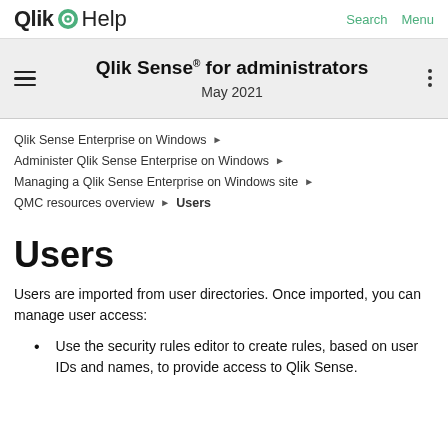Qlik Help  Search  Menu
Qlik Sense® for administrators
May 2021
Qlik Sense Enterprise on Windows ▶
Administer Qlik Sense Enterprise on Windows ▶
Managing a Qlik Sense Enterprise on Windows site ▶
QMC resources overview ▶ Users
Users
Users are imported from user directories. Once imported, you can manage user access:
Use the security rules editor to create rules, based on user IDs and names, to provide access to Qlik Sense.